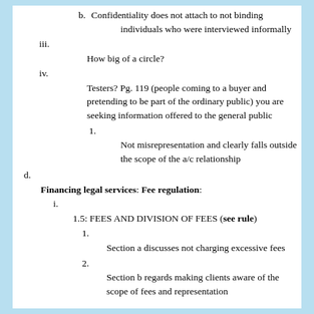b. Confidentiality does not attach to not binding individuals who were interviewed informally
iii. How big of a circle?
iv. Testers? Pg. 119 (people coming to a buyer and pretending to be part of the ordinary public) you are seeking information offered to the general public
1. Not misrepresentation and clearly falls outside the scope of the a/c relationship
d. Financing legal services: Fee regulation:
i. 1.5: FEES AND DIVISION OF FEES (see rule)
1. Section a discusses not charging excessive fees
2. Section b regards making clients aware of the scope of fees and representation